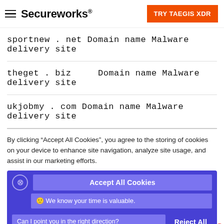Secureworks — TRY TAEGIS XDR
| Indicator | Type | Description |
| --- | --- | --- |
| sportnew . net | Domain name | Malware delivery site |
| theget . biz | Domain name | Malware delivery site |
| ukjobmy . com | Domain name | Malware delivery site |
By clicking “Accept All Cookies”, you agree to the storing of cookies on your device to enhance site navigation, analyze site usage, and assist in our marketing efforts.
Accept All Cookies
🙂 We know your time is valuable.
Can I point you in the right direction?
Reject All
Cookies Settings